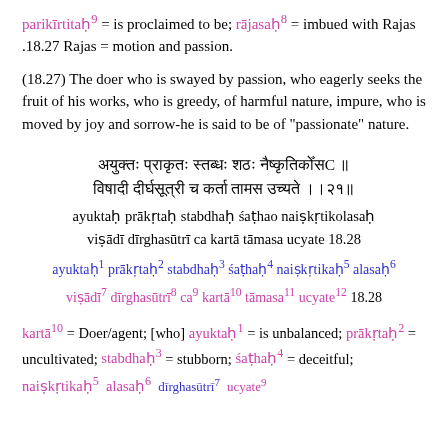parikīrtitaḥ⁹ = is proclaimed to be; rājasaḥ⁸ = imbued with Rajas .18.27 Rajas = motion and passion.
(18.27) The doer who is swayed by passion, who eagerly seeks the fruit of his works, who is greedy, of harmful nature, impure, who is moved by joy and sorrow-he is said to be of "passionate" nature.
[Sanskrit verse lines]
ayuktaḥ prākṛtaḥ stabdhaḥ śaṭhao naiṣkṛtikolasaḥ viṣādī dīrghasūtrī ca kartā tāmasa ucyate 18.28
ayuktaḥ¹ prākṛtaḥ² stabdhaḥ³ śaṭhaḥ⁴ naiṣkṛtikaḥ⁵ alasaḥ⁶ viṣādī⁷ dīrghasūtrī⁸ ca⁹ kartā¹⁰ tāmasa¹¹ ucyate¹² 18.28
kartā¹⁰ = Doer/agent; [who] ayuktaḥ¹ = is unbalanced; prākṛtaḥ² = uncultivated; stabdhaḥ³ = stubborn; śaṭhaḥ⁴ = deceitful;